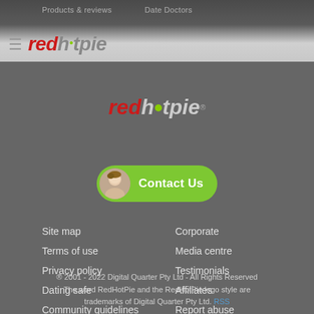Products & reviews   Date Doctors   redhotpie
[Figure (logo): RedHotPie logo in footer area - red 'red' and grey 'hotpie' italic bold text with green dot]
[Figure (illustration): Contact Us button with green rounded pill shape and female avatar photo]
Site map
Terms of use
Privacy policy
Dating safe
Community guidelines
Corporate
Media centre
Testimonials
Affiliates
Report abuse
® 2001 - 2022 Digital Quarter Pty Ltd - All Rights Reserved The word RedHotPie and the RedHotPie logo style are trademarks of Digital Quarter Pty Ltd. RSS